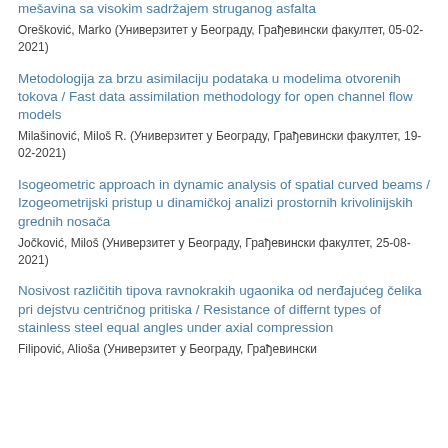mešavina sa visokim sadržajem struganog asfalta
Orešković, Marko (Универзитет у Београду, Грађевински факултет, 05-02-2021)
Metodologija za brzu asimilaciju podataka u modelima otvorenih tokova / Fast data assimilation methodology for open channel flow models
Milašinović, Miloš R. (Универзитет у Београду, Грађевински факултет, 19-02-2021)
Isogeometric approach in dynamic analysis of spatial curved beams / Izogeometrijski pristup u dinamičkoj analizi prostornih krivolinijskih grednih nosača
Jočković, Miloš (Универзитет у Београду, Грађевински факултет, 25-08-2021)
Nosivost različitih tipova ravnokrakih ugaonika od nerđajućeg čelika pri dejstvu centričnog pritiska / Resistance of differnt types of stainless steel equal angles under axial compression
Filipović, Alioša (Универзитет у Београду, Грађевински факултет)